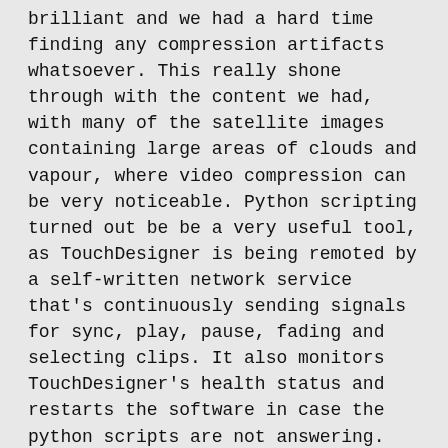brilliant and we had a hard time finding any compression artifacts whatsoever. This really shone through with the content we had, with many of the satellite images containing large areas of clouds and vapour, where video compression can be very noticeable. Python scripting turned out be be a very useful tool, as TouchDesigner is being remoted by a self-written network service that's continuously sending signals for sync, play, pause, fading and selecting clips. It also monitors TouchDesigner's health status and restarts the software in case the python scripts are not answering.
Derivative: How are people to use this system?
Intermediate Engineering: "People" don't use it. People don't even know it's there. All they see are the beautiful images rotating on the sphere. All the funky looking stuff is hidden in the background doing its job 8 hours a day, 7 days